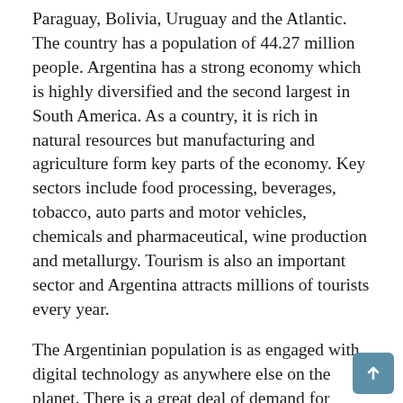Paraguay, Bolivia, Uruguay and the Atlantic. The country has a population of 44.27 million people. Argentina has a strong economy which is highly diversified and the second largest in South America. As a country, it is rich in natural resources but manufacturing and agriculture form key parts of the economy. Key sectors include food processing, beverages, tobacco, auto parts and motor vehicles, chemicals and pharmaceutical, wine production and metallurgy. Tourism is also an important sector and Argentina attracts millions of tourists every year.
The Argentinian population is as engaged with digital technology as anywhere else on the planet. There is a great deal of demand for faster, voice, video and data and the popularity of streaming and for social media is very high. The Argentinian government has also made the connection between broadband access and a thriving